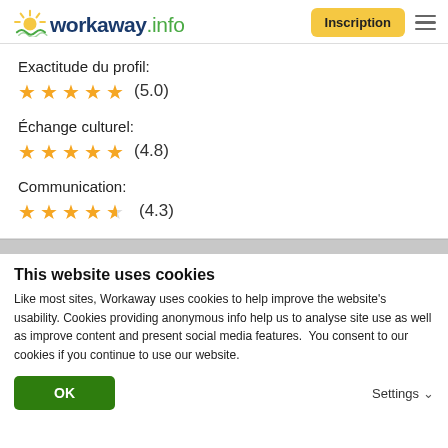[Figure (logo): Workaway.info logo with sun icon]
Inscription
Exactitude du profil:
★★★★★ (5.0)
Échange culturel:
★★★★★ (4.8)
Communication:
★★★★½ (4.3)
This website uses cookies
Like most sites, Workaway uses cookies to help improve the website's usability. Cookies providing anonymous info help us to analyse site use as well as improve content and present social media features.  You consent to our cookies if you continue to use our website.
OK
Settings